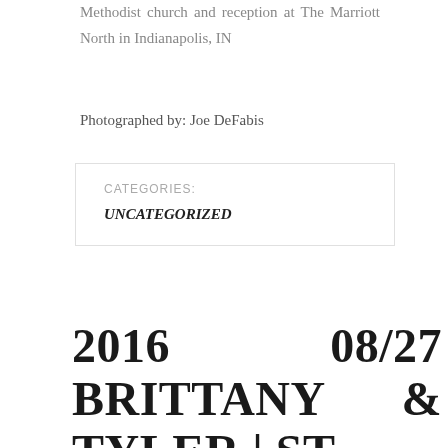Methodist church and reception at The Marriott North in Indianapolis, IN
Photographed by: Joe DeFabis
| CATEGORIES: |
| --- |
| UNCATEGORIZED |
2016 08/27 BRITTANY & TYLER | ST ROCH |